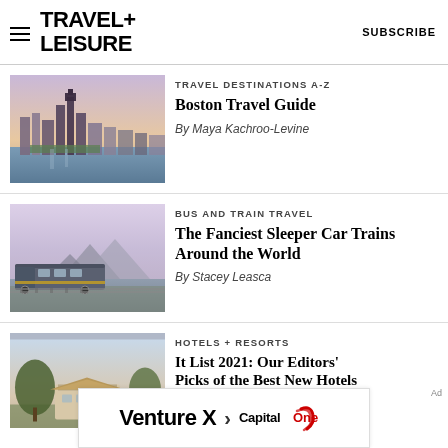TRAVEL+LEISURE  SUBSCRIBE
TRAVEL DESTINATIONS A-Z
Boston Travel Guide
By Maya Kachroo-Levine
[Figure (photo): Aerial view of Boston city skyline with waterfront and buildings at dusk]
BUS AND TRAIN TRAVEL
The Fanciest Sleeper Car Trains Around the World
By Stacey Leasca
[Figure (photo): A passenger train traveling along a scenic waterfront route at dusk]
HOTELS + RESORTS
It List 2021: Our Editors' Picks of the Best New Hotels
[Figure (photo): Luxury hotel or resort with trees and outdoor areas at dusk]
[Figure (infographic): Venture X > Capital One advertisement banner]